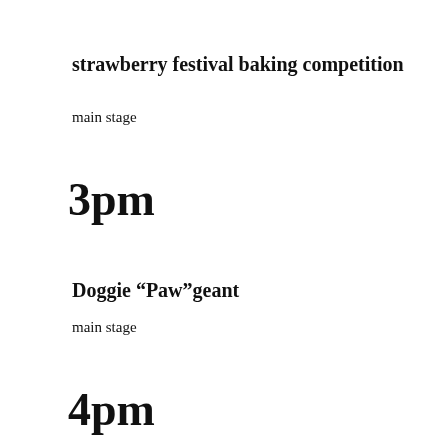strawberry festival baking competition
main stage
3pm
Doggie “Paw”geant
main stage
4pm